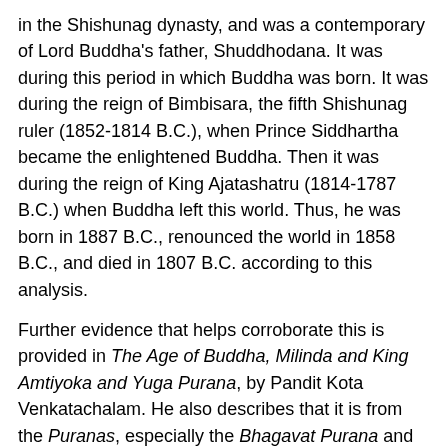in the Shishunag dynasty, and was a contemporary of Lord Buddha's father, Shuddhodana. It was during this period in which Buddha was born. It was during the reign of Bimbisara, the fifth Shishunag ruler (1852-1814 B.C.), when Prince Siddhartha became the enlightened Buddha. Then it was during the reign of King Ajatashatru (1814-1787 B.C.) when Buddha left this world. Thus, he was born in 1887 B.C., renounced the world in 1858 B.C., and died in 1807 B.C. according to this analysis.
Further evidence that helps corroborate this is provided in The Age of Buddha, Milinda and King Amtiyoka and Yuga Purana, by Pandit Kota Venkatachalam. He also describes that it is from the Puranas, especially the Bhagavat Purana and the Kaliyurajavruttanta, that need to be consulted for the description of the Magadha royal dynasties to determine the date of Lord Buddha. Buddha was the 23rd in the Ikshvaku lineage, and was a contemporary of Kshemajita, Bimbisara, and Ajatashatru, as described above. Buddha was 72 years old in 1814 B.C. when the coronation of Ajatashatru took place. Thus, the date of Buddha's birth must have been near 1887 B.C., and his death in 1807 B.C. if he lived for 80 years.
Professor K. Srinivasaraghavan also relates in his book, Chronology of Ancient Bharat (Part Four, Chapter Two), that